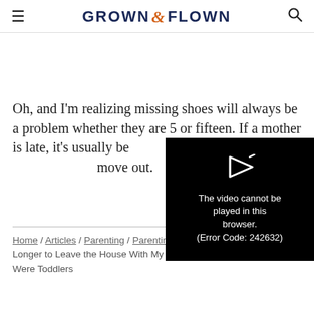GROWN & FLOWN
Oh, and I'm realizing missing shoes will always be a problem whether they are 5 or fifteen. If a mother is late, it's usually because of shoes; this will be the case until they move out.
[Figure (screenshot): Video player overlay showing error message: 'The video cannot be played in this browser. (Error Code: 242632)']
Home / Articles / Parenting / Parenting Challenges / It Takes Me Longer to Leave the House With My Teens Than it Did When They Were Toddlers